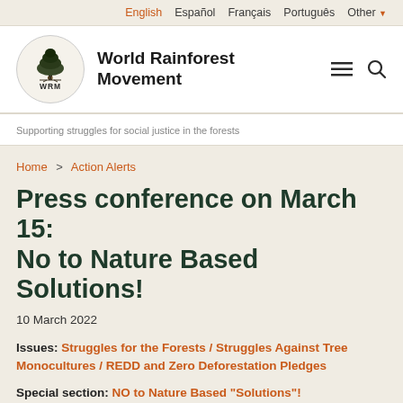English  Español  Français  Português  Other
[Figure (logo): World Rainforest Movement logo: circular emblem with a tree illustration above 'WRM' text]
World Rainforest Movement
Supporting struggles for social justice in the forests
Home > Action Alerts
Press conference on March 15: No to Nature Based Solutions!
10 March 2022
Issues: Struggles for the Forests / Struggles Against Tree Monocultures / REDD and Zero Deforestation Pledges
Special section: NO to Nature Based "Solutions"!